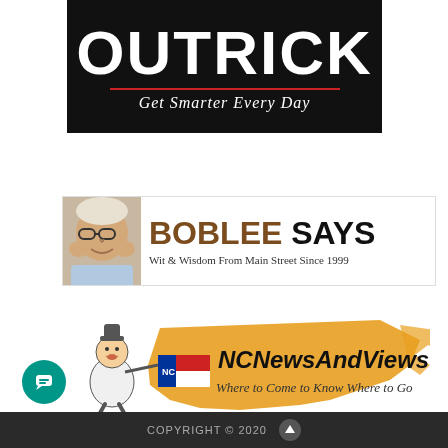[Figure (logo): Outrick logo banner — dark background with large white bold text 'OUTRICK', red underline, italic white tagline 'Get Smarter Every Day']
[Figure (logo): BobLee Says banner — photo of man on left, brown bold 'BOBLEE' and black 'SAYS' text, subtitle 'Wit & Wisdom From Main Street Since 1999']
[Figure (logo): NCNewsAndViews.com logo — cartoon man carrying NC flag against yellow/orange NC state shape silhouette, bold italic text 'NCNewsAndViews.com' and italic 'Where to Come to Know Where to Go']
COPYRIGHT © 2020